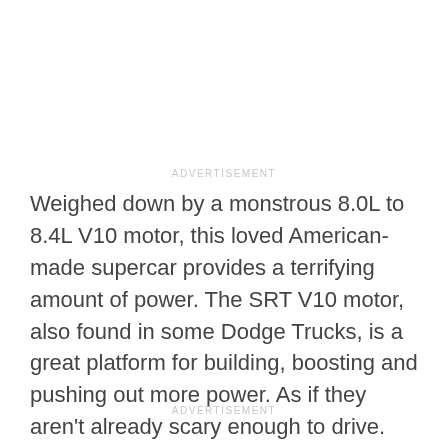ADVERTISEMENT
Weighed down by a monstrous 8.0L to 8.4L V10 motor, this loved American-made supercar provides a terrifying amount of power. The SRT V10 motor, also found in some Dodge Trucks, is a great platform for building, boosting and pushing out more power. As if they aren't already scary enough to drive.
ADVERTISEMENT